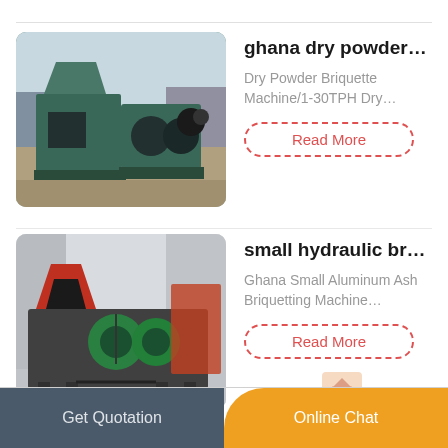[Figure (photo): Industrial dry powder briquette machine, teal/green colored, photographed outdoors]
ghana dry powder…
Dry Powder Briquette Machine/1-30TPH Dry…
Read More
[Figure (photo): Small hydraulic briquetting machine, dark gray with green roller, indoor factory setting]
small hydraulic br…
Ghana Small Aluminum Ash Briquetting Machine…
Read More
Get Quotation   Online Chat